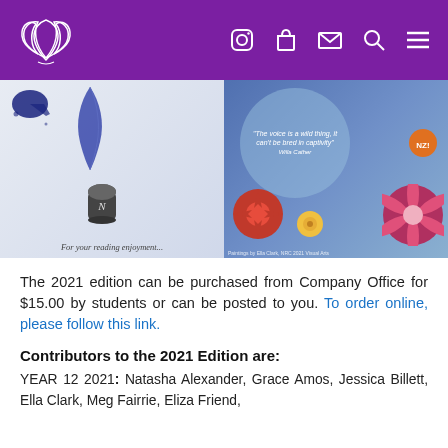Navigation header with logo and icons
[Figure (illustration): Two book/magazine cover images side by side. Left: white/blue cover with ink pot and feather quill, text 'For your reading enjoyment...'. Right: blue artistic cover with flowers and quote 'The voice is a wild thing, it can't be bred in captivity' - Willa Cather.]
The 2021 edition can be purchased from Company Office for $15.00 by students or can be posted to you. To order online, please follow this link.
Contributors to the 2021 Edition are:
YEAR 12 2021: Natasha Alexander, Grace Amos, Jessica Billett, Ella Clark, Meg Fairrie, Eliza Friend, ...